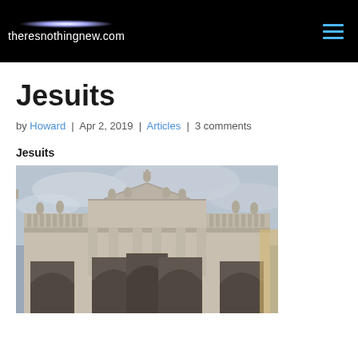theresnothingnew.com
Jesuits
by Howard | Apr 2, 2019 | Articles | 3 comments
Jesuits
[Figure (photo): Photo of a classical church facade with statues along the roofline and arched entrances below, overcast sky background]